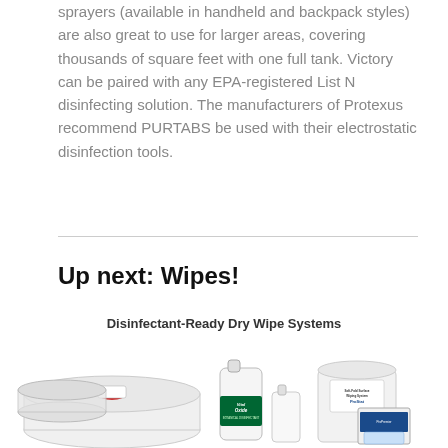sprayers (available in handheld and backpack styles) are also great to use for larger areas, covering thousands of square feet with one full tank. Victory can be paired with any EPA-registered List N disinfecting solution. The manufacturers of Protexus recommend PURTABS be used with their electrostatic disinfection tools.
Up next: Wipes!
Disinfectant-Ready Dry Wipe Systems
[Figure (photo): Photo of disinfectant-ready dry wipe system products including white buckets with wipes, VitalOxide gallon jug, plain white gallon jugs, and ProStat wipe system containers.]